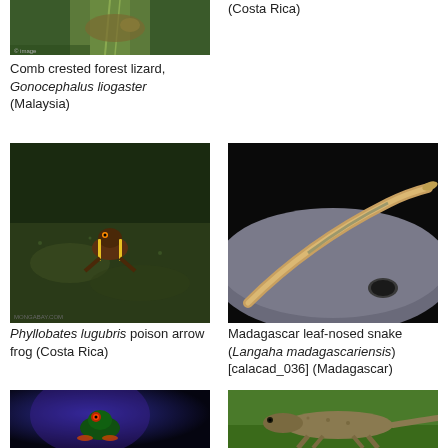[Figure (photo): Comb crested forest lizard on a spiny plant, partial view (top cropped)]
Comb crested forest lizard, Gonocephalus liogaster (Malaysia)
(Costa Rica)
[Figure (photo): Phyllobates lugubris poison arrow frog on mossy surface, Costa Rica]
Phyllobates lugubris poison arrow frog (Costa Rica)
[Figure (photo): Madagascar leaf-nosed snake (Langaha madagascariensis) close-up showing the elongated leaf-shaped nose]
Madagascar leaf-nosed snake (Langaha madagascariensis) [calacad_036] (Madagascar)
[Figure (photo): Red-eyed tree frog glowing under blue/UV light, Costa Rica]
[Figure (photo): Large monitor lizard on green grass]